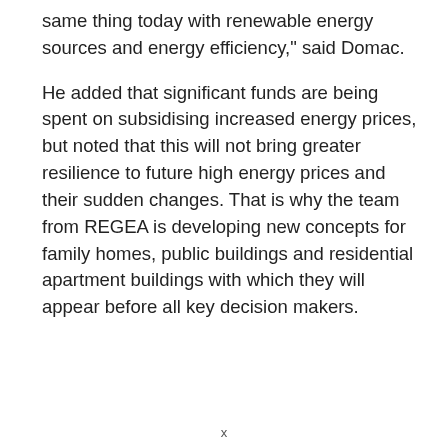same thing today with renewable energy sources and energy efficiency," said Domac.
He added that significant funds are being spent on subsidising increased energy prices, but noted that this will not bring greater resilience to future high energy prices and their sudden changes. That is why the team from REGEA is developing new concepts for family homes, public buildings and residential apartment buildings with which they will appear before all key decision makers.
x